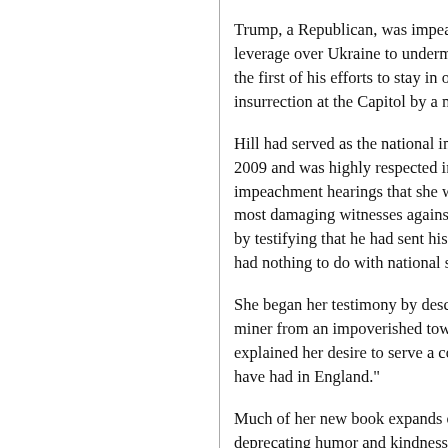Trump, a Republican, was impeached by th leverage over Ukraine to undermine Joe Bi the first of his efforts to stay in office by un insurrection at the Capitol by a mob he had
Hill had served as the national intelligence 2009 and was highly respected in Washingt impeachment hearings that she was introdu most damaging witnesses against the presid by testifying that he had sent his envoys to had nothing to do with national security pol
She began her testimony by describing her miner from an impoverished town in northe explained her desire to serve a country that have had in England."
Much of her new book expands on that pers deprecating humor and kindness. Along the weaves in a study of the changing societies Britain, a student and researcher in Russia a
The changes in all three countries are striki